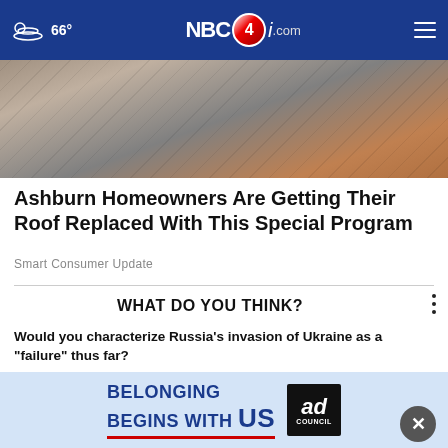66° NBC4i.com
[Figure (photo): Close-up photo of cracked asphalt/shingle roofing material with gravel texture and orange tones at edges]
Ashburn Homeowners Are Getting Their Roof Replaced With This Special Program
Smart Consumer Update
WHAT DO YOU THINK?
Would you characterize Russia's invasion of Ukraine as a "failure" thus far?
Yes, definitely
To some extent
No
Other / No opinion
[Figure (other): Ad banner: BELONGING BEGINS WITH US — Ad Council]